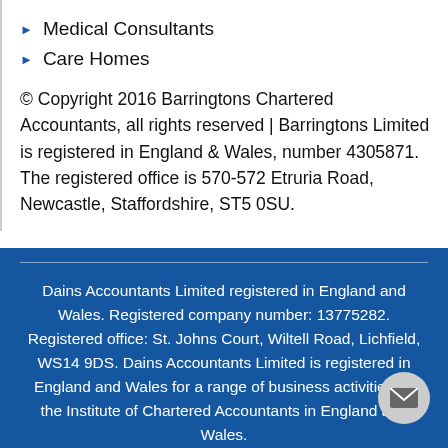Medical Consultants
Care Homes
© Copyright 2016 Barringtons Chartered Accountants, all rights reserved | Barringtons Limited is registered in England & Wales, number 4305871. The registered office is 570-572 Etruria Road, Newcastle, Staffordshire, ST5 0SU.
Dains Accountants Limited registered in England and Wales. Registered company number: 13775282. Registered office: St. Johns Court, Wiltell Road, Lichfield, WS14 9DS. Dains Accountants Limited is registered in England and Wales for a range of business activities by the Institute of Chartered Accountants in England and Wales.